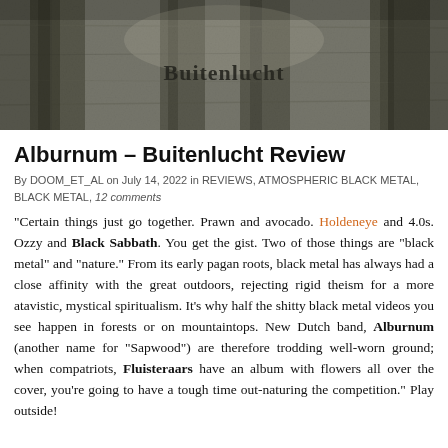[Figure (photo): Black and white album cover photo showing tree trunks with gothic text 'Buitenlucht' in the center]
Alburnum – Buitenlucht Review
By DOOM_ET_AL on July 14, 2022 in REVIEWS, ATMOSPHERIC BLACK METAL, BLACK METAL, 12 comments
“Certain things just go together. Prawn and avocado. Holdeneye and 4.0s. Ozzy and Black Sabbath. You get the gist. Two of those things are “black metal” and “nature.” From its early pagan roots, black metal has always had a close affinity with the great outdoors, rejecting rigid theism for a more atavistic, mystical spiritualism. It’s why half the shitty black metal videos you see happen in forests or on mountaintops. New Dutch band, Alburnum (another name for “Sapwood”) are therefore trodding well-worn ground; when compatriots, Fluisteraars have an album with flowers all over the cover, you’re going to have a tough time out-naturing the competition.” Play outside!